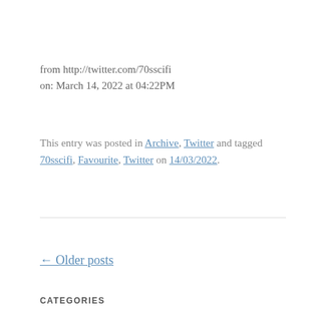from http://twitter.com/70sscifi
on: March 14, 2022 at 04:22PM
This entry was posted in Archive, Twitter and tagged 70sscifi, Favourite, Twitter on 14/03/2022.
← Older posts
CATEGORIES
Select Category